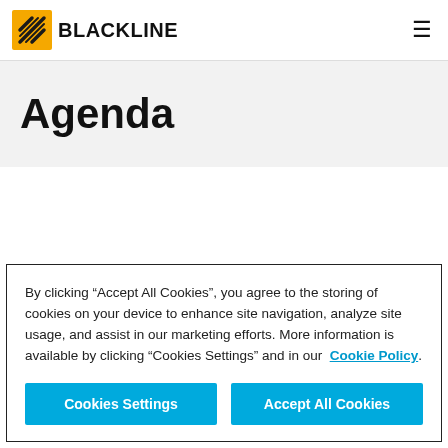BLACKLINE
Agenda
By clicking “Accept All Cookies”, you agree to the storing of cookies on your device to enhance site navigation, analyze site usage, and assist in our marketing efforts. More information is available by clicking “Cookies Settings” and in our Cookie Policy.
Cookies Settings
Accept All Cookies